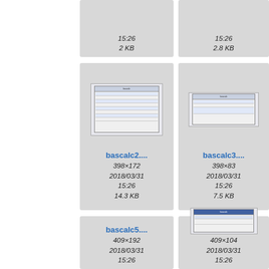[Figure (screenshot): Partial file thumbnail showing 15:26 and 2 KB]
15:26
2 KB
[Figure (screenshot): Partial file thumbnail showing 15:26 and 2.8 KB]
15:26
2.8 KB
[Figure (screenshot): bascalc2 file thumbnail with screenshot of dialog, 398×172, 2018/03/31 15:26, 14.3 KB]
bascalc2....
398×172
2018/03/31
15:26
14.3 KB
[Figure (screenshot): bascalc3 file thumbnail with screenshot of dialog, 398×83, 2018/03/31 15:26, 7.5 KB]
bascalc3....
398×83
2018/03/31
15:26
7.5 KB
[Figure (screenshot): bascalc5 file thumbnail (no preview), 409×192, 2018/03/31 15:26]
bascalc5....
409×192
2018/03/31
15:26
[Figure (screenshot): bascalc6 file thumbnail with dialog screenshot, 409×104, 2018/03/31 15:26]
bascalc6....
409×104
2018/03/31
15:26